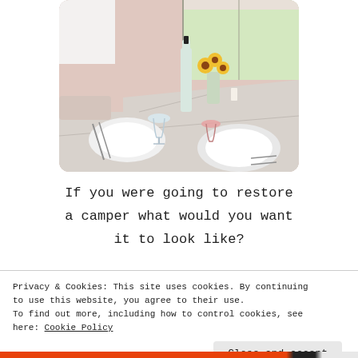[Figure (photo): A dining table set for two with white plates, wine glasses, a bottle of wine, and sunflowers in a vase, in a camper or caravan interior with pink walls and white curtains.]
If you were going to restore a camper what would you want it to look like?
Privacy & Cookies: This site uses cookies. By continuing to use this website, you agree to their use. To find out more, including how to control cookies, see here: Cookie Policy